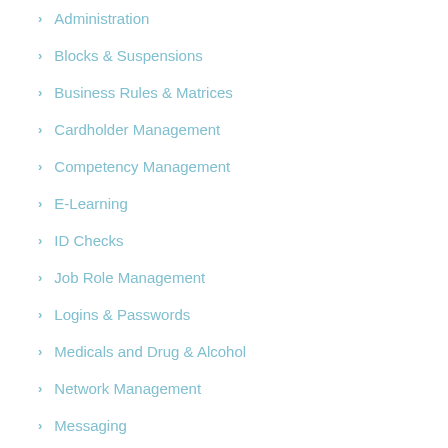Administration
Blocks & Suspensions
Business Rules & Matrices
Cardholder Management
Competency Management
E-Learning
ID Checks
Job Role Management
Logins & Passwords
Medicals and Drug & Alcohol
Network Management
Messaging
Payments